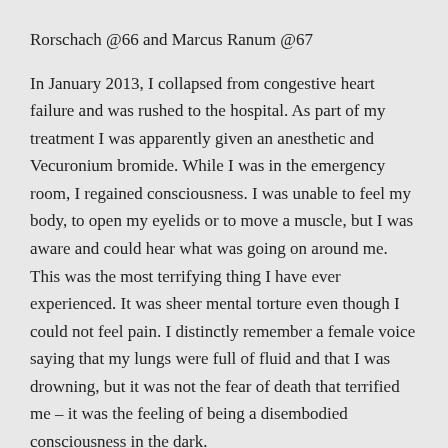Rorschach @66 and Marcus Ranum @67
In January 2013, I collapsed from congestive heart failure and was rushed to the hospital. As part of my treatment I was apparently given an anesthetic and Vecuronium bromide. While I was in the emergency room, I regained consciousness. I was unable to feel my body, to open my eyelids or to move a muscle, but I was aware and could hear what was going on around me. This was the most terrifying thing I have ever experienced. It was sheer mental torture even though I could not feel pain. I distinctly remember a female voice saying that my lungs were full of fluid and that I was drowning, but it was not the fear of death that terrified me – it was the feeling of being a disembodied consciousness in the dark.